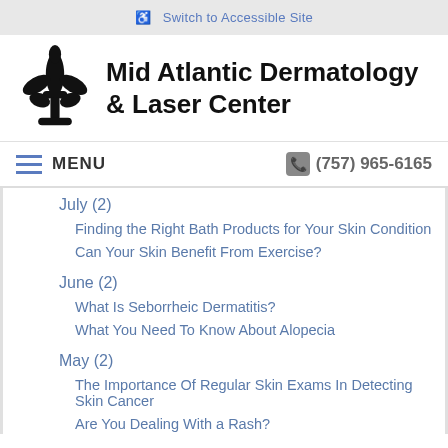Switch to Accessible Site
Mid Atlantic Dermatology & Laser Center
MENU   (757) 965-6165
July (2)
Finding the Right Bath Products for Your Skin Condition
Can Your Skin Benefit From Exercise?
June (2)
What Is Seborrheic Dermatitis?
What You Need To Know About Alopecia
May (2)
The Importance Of Regular Skin Exams In Detecting Skin Cancer
Are You Dealing With a Rash?